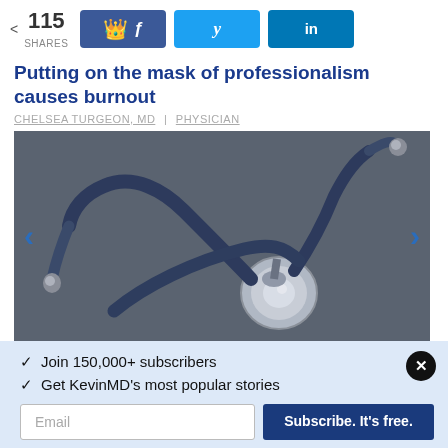< 115 SHARES
Putting on the mask of professionalism causes burnout
CHELSEA TURGEON, MD | PHYSICIAN
[Figure (photo): Close-up photograph of a stethoscope lying on a dark gray surface]
✓ Join 150,000+ subscribers
✓ Get KevinMD's most popular stories
Email  Subscribe. It's free.